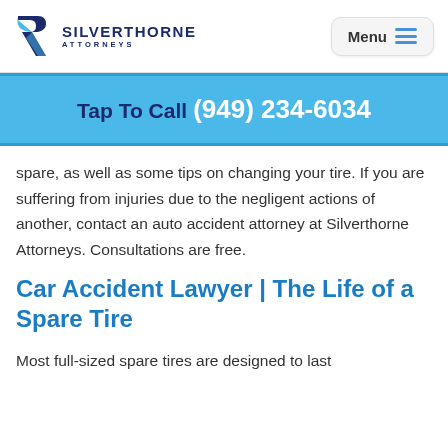SILVERTHORNE ATTORNEYS | Menu
Tap To Call  (949) 234-6034
spare, as well as some tips on changing your tire. If you are suffering from injuries due to the negligent actions of another, contact an auto accident attorney at Silverthorne Attorneys. Consultations are free.
Car Accident Lawyer | The Life of a Spare Tire
Most full-sized spare tires are designed to last